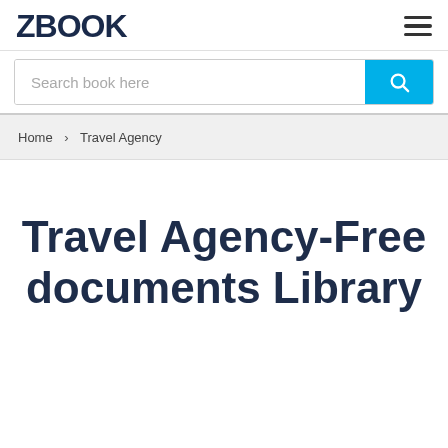ZBOOK
Search book here
Home > Travel Agency
Travel Agency-Free documents Library